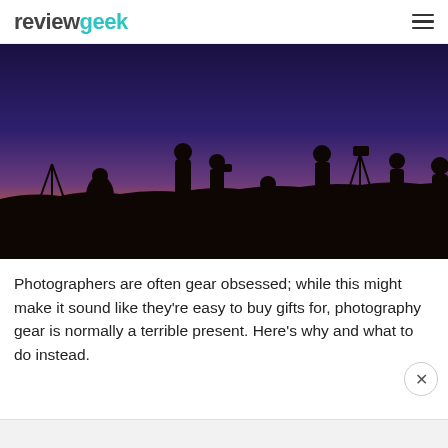reviewgeek
[Figure (photo): Silhouettes of multiple photographers with tripods and cameras shooting against a dramatic sunset sky with purple, blue, and orange gradient colors]
Photographers are often gear obsessed; while this might make it sound like they're easy to buy gifts for, photography gear is normally a terrible present. Here's why and what to do instead.